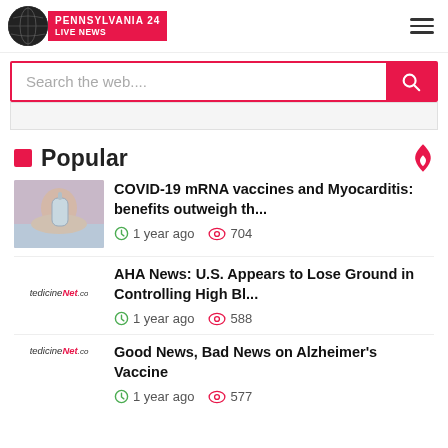Pennsylvania 24 Live News
Search the web....
Popular
COVID-19 mRNA vaccines and Myocarditis: benefits outweigh th...
1 year ago  704
AHA News: U.S. Appears to Lose Ground in Controlling High Bl...
1 year ago  588
Good News, Bad News on Alzheimer's Vaccine
1 year ago  577